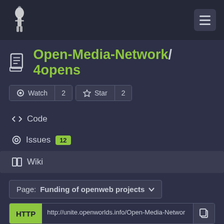Open-Media-Network/4opens — Gitea header navigation
Open-Media-Network / 4opens
Watch 2  Star 2
<> Code
Issues 12
Wiki
Page: Funding of openweb projects
HTTP  http://unite.openworlds.info/Open-Media-Networ
17  Funding of openweb projects
Admin edited this page 10 months ago